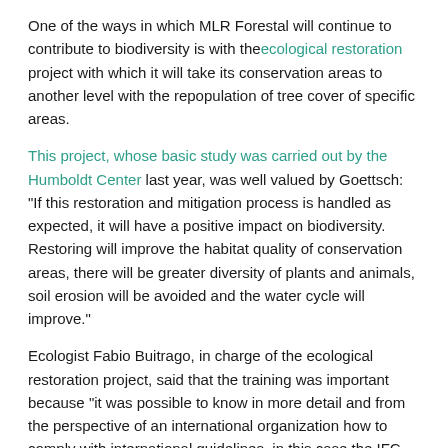One of the ways in which MLR Forestal will continue to contribute to biodiversity is with the ecological restoration project with which it will take its conservation areas to another level with the repopulation of tree cover of specific areas.
This project, whose basic study was carried out by the Humboldt Center last year, was well valued by Goettsch: "If this restoration and mitigation process is handled as expected, it will have a positive impact on biodiversity. Restoring will improve the habitat quality of conservation areas, there will be greater diversity of plants and animals, soil erosion will be avoided and the water cycle will improve."
Ecologist Fabio Buitrago, in charge of the ecological restoration project, said that the training was important because "it was possible to know in more detail and from the perspective of an international organization how to comply with international guidelines, in this case the IFC performance standard number six, which is an important guideline for responsible and sustainable forest operation with biodiversity."
"MLR Foresta...